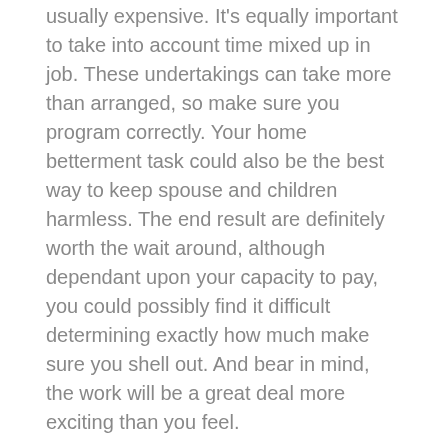usually expensive. It's equally important to take into account time mixed up in job. These undertakings can take more than arranged, so make sure you program correctly. Your home betterment task could also be the best way to keep spouse and children harmless. The end result are definitely worth the wait around, although dependant upon your capacity to pay, you could possibly find it difficult determining exactly how much make sure you shell out. And bear in mind, the work will be a great deal more exciting than you feel.
Another popular way of do it yourself is utilizing an unguaranteed private mortgage loan. This type of bank loan doesn't demand guarantee, along with the monthly interest rate is often under a charge card. However, provided you can manage to pay out dollars, this is actually the smartest choice. Your own mortgage is actually an installment plan, and will help you spread out the price the task spanning a more time time period. Apart from, that, you can enjoy the tax important things about creating improvements to your home,